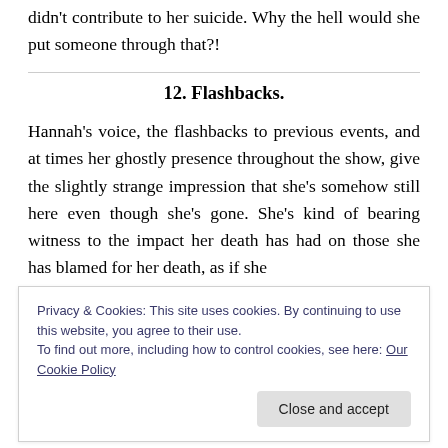didn't contribute to her suicide. Why the hell would she put someone through that?!
12. Flashbacks.
Hannah's voice, the flashbacks to previous events, and at times her ghostly presence throughout the show, give the slightly strange impression that she's somehow still here even though she's gone. She's kind of bearing witness to the impact her death has had on those she has blamed for her death, as if she
Privacy & Cookies: This site uses cookies. By continuing to use this website, you agree to their use.
To find out more, including how to control cookies, see here: Our Cookie Policy
Close and accept